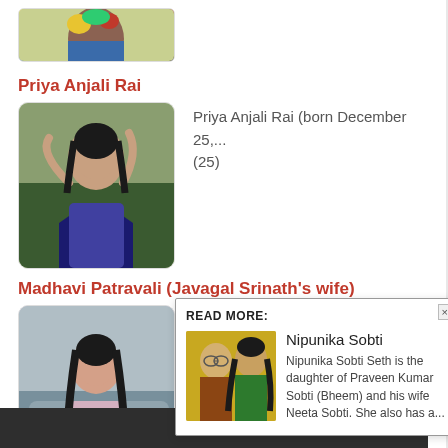[Figure (photo): Partial top photo of a person with colorful background]
Priya Anjali Rai
[Figure (photo): Photo of Priya Anjali Rai in a blue dress]
Priya Anjali Rai (born December 25,... (25)
Madhavi Patravali (Javagal Srinath's wife)
[Figure (photo): Photo of Madhavi Patravali seated indoors]
Madhavi Patravali also known as Madhavi... (20)
READ MORE:
[Figure (photo): Photo of Nipunika Sobti with another person]
Nipunika Sobti
Nipunika Sobti Seth is the daughter of Praveen Kumar Sobti (Bheem) and his wife Neeta Sobti. She also has a...